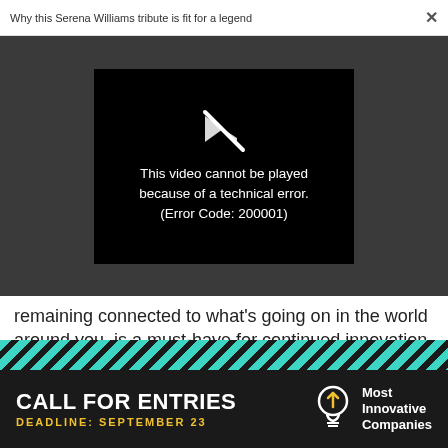Why this Serena Williams tribute is fit for a legend
[Figure (screenshot): Video player showing error: black rectangle with broken play icon and text 'This video cannot be played because of a technical error. (Error Code: 200001)' on dark gray background]
remaining connected to what's going on in the world around you, is a must-have for continued innovation, says CEO of Northern Star Acquisition Company Joanna Coles on the latest episode of Most Innovative Companies podcast.
[Figure (infographic): Advertisement banner with teal zigzag pattern strip above black background reading 'CALL FOR ENTRIES DEADLINE: SEPTEMBER 23' with a lightbulb icon and 'Most Innovative Companies' text]